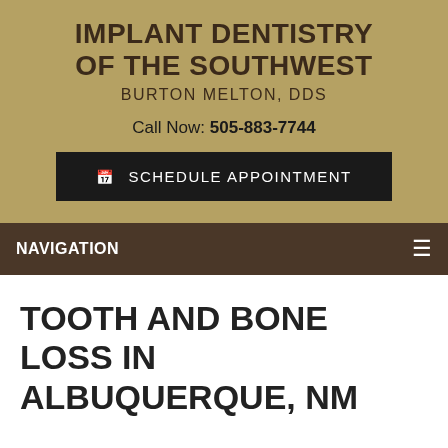IMPLANT DENTISTRY OF THE SOUTHWEST
BURTON MELTON, DDS
Call Now: 505-883-7744
SCHEDULE APPOINTMENT
NAVIGATION
TOOTH AND BONE LOSS IN ALBUQUERQUE, NM
[Figure (photo): Partial photo of an elderly woman with gray hair, cropped at the top of the head and face, shown against a tan/olive background.]